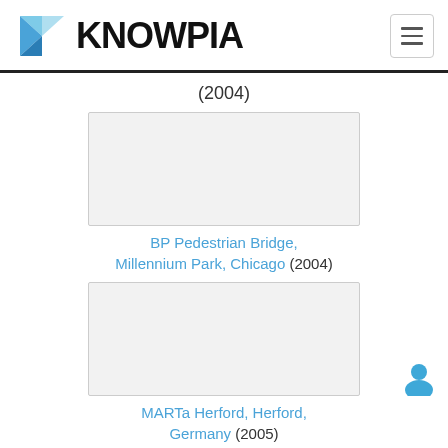KNOWPIA
(2004)
[Figure (photo): Placeholder image box for BP Pedestrian Bridge photo]
BP Pedestrian Bridge, Millennium Park, Chicago (2004)
[Figure (photo): Placeholder image box for MARTa Herford photo]
MARTa Herford, Herford, Germany (2005)